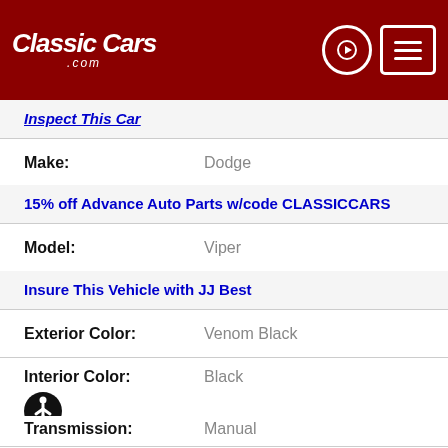ClassicCars.com
Inspect This Car
Make: Dodge
15% off Advance Auto Parts w/code CLASSICCARS
Model: Viper
Insure This Vehicle with JJ Best
Exterior Color: Venom Black
Interior Color: Black
Transmission: Manual